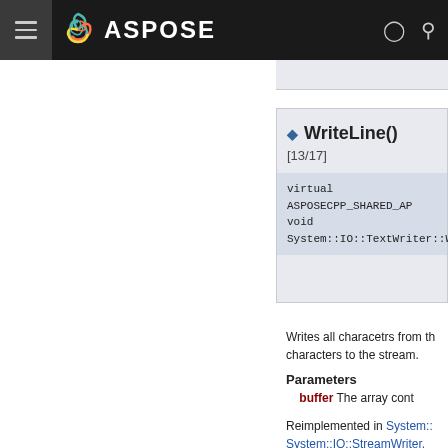ASPOSE
◆ WriteLine() [13/17]
virtual ASPOSECPP_SHARED_API void System::IO::TextWriter::Write
Writes all characetrs from th characters to the stream.
Parameters
buffer The array cont
Reimplemented in System:: System::IO::StreamWriter.